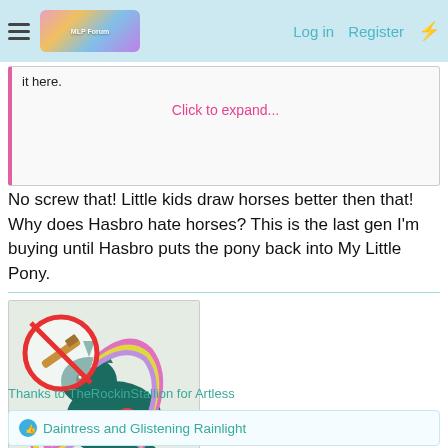Log in   Register
it here.
Click to expand...
No screw that! Little kids draw horses better then that! Why does Hasbro hate horses? This is the last gen I'm buying until Hasbro puts the pony back into My Little Pony.
[Figure (illustration): Illustration of a dark teal My Little Pony unicorn with pink and yellow mane and tail, with a no-knife symbol (red circle with diagonal bar over a knife) in the upper left.]
Thanks to TheRockinStallion for Artless
Daintress and Glistening Rainlight